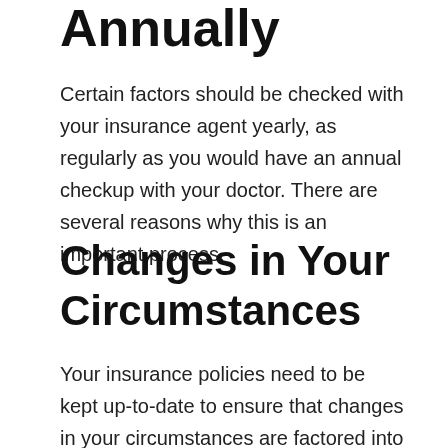Annually
Certain factors should be checked with your insurance agent yearly, as regularly as you would have an annual checkup with your doctor. There are several reasons why this is an important process.
Changes in Your Circumstances
Your insurance policies need to be kept up-to-date to ensure that changes in your circumstances are factored into your risk. This may include a change of address, acquiring an additional vehicle, or adding a driver.